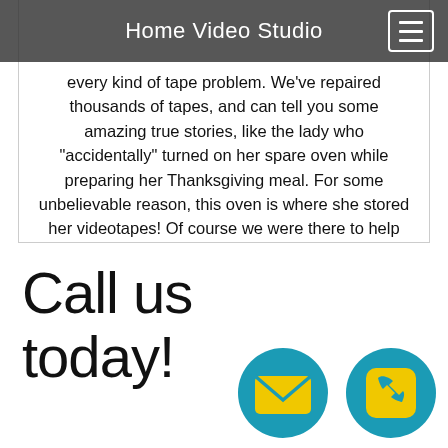Home Video Studio
every kind of tape problem. We've repaired thousands of tapes, and can tell you some amazing true stories, like the lady who "accidentally" turned on her spare oven while preparing her Thanksgiving meal. For some unbelievable reason, this oven is where she stored her videotapes! Of course we were there to help and repaired her tapes. What's your story? What is your tape repair need? We are here to help with a quick repair of your priceless memories on tape.
Call us today!
[Figure (illustration): Teal circle with yellow envelope/email icon]
[Figure (illustration): Teal circle with yellow phone icon]